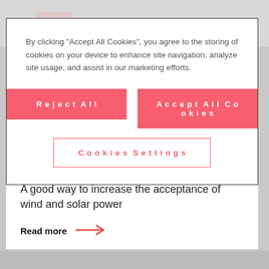[Figure (photo): Blurred/grey top image area, partially visible]
By clicking “Accept All Cookies”, you agree to the storing of cookies on your device to enhance site navigation, analyze site usage, and assist in our marketing efforts.
Reject All
Accept All Cookies
Cookies Settings
A good way to increase the acceptance of wind and solar power
Read more →